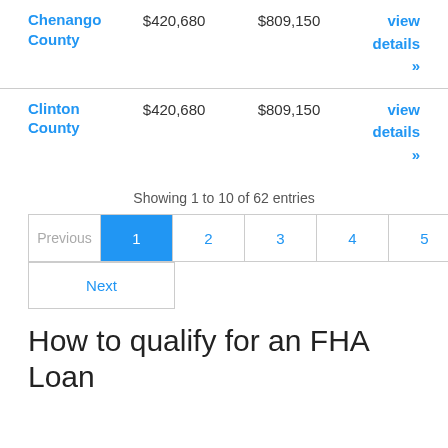| County | Min Loan | Max Loan | Link |
| --- | --- | --- | --- |
| Chenango County | $420,680 | $809,150 | view details » |
| Clinton County | $420,680 | $809,150 | view details » |
Showing 1 to 10 of 62 entries
Previous 1 2 3 4 5 6 7 Next
How to qualify for an FHA Loan